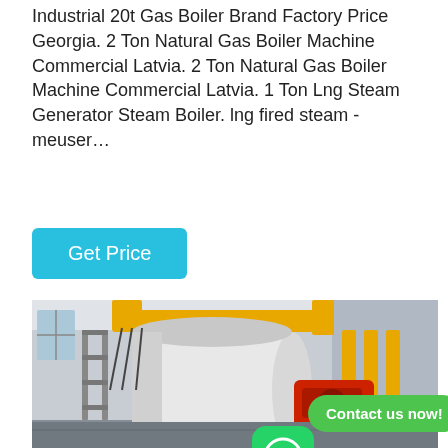Industrial 20t Gas Boiler Brand Factory Price Georgia. 2 Ton Natural Gas Boiler Machine Commercial Latvia. 2 Ton Natural Gas Boiler Machine Commercial Latvia. 1 Ton Lng Steam Generator Steam Boiler. lng fired steam - meuser…
[Figure (other): Blue button labeled 'Get Price']
[Figure (photo): Industrial gas boiler in a factory setting with yellow pipes, white cylindrical boiler, and a red burner. A WhatsApp icon and 'Contact us now!' green bubble overlay on the photo.]